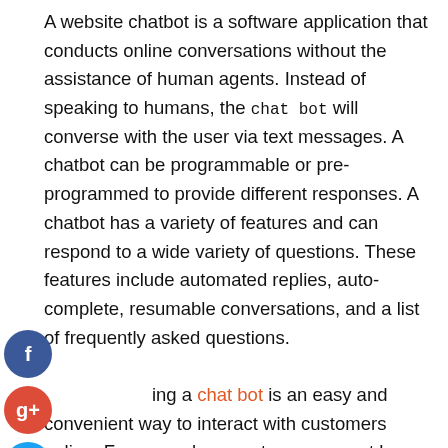A website chatbot is a software application that conducts online conversations without the assistance of human agents. Instead of speaking to humans, the chat bot will converse with the user via text messages. A chatbot can be programmable or pre-programmed to provide different responses. A chatbot has a variety of features and can respond to a wide variety of questions. These features include automated replies, auto-complete, resumable conversations, and a list of frequently asked questions. Using a chat bot is an easy and convenient way to interact with customers online. For example, a customer does not have to wait on hold for a human to answer questions. In addition, a chatbot can suggest products and services that are relevant to the consumer's interests. Depending on the type of conversation a user has, the chatbot can guide them to a specific website, landing
[Figure (other): Social media share buttons: Facebook (blue), Google+ (red), Twitter (light blue), and a dark plus/share button]